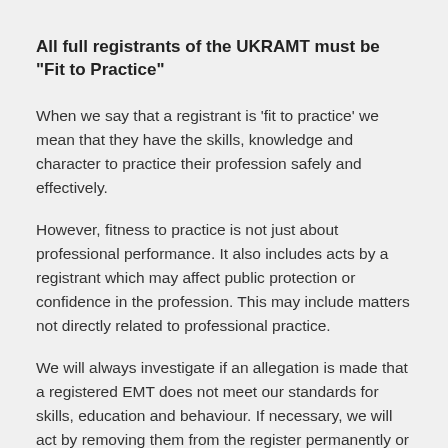All full registrants of the UKRAMT must be "Fit to Practice"
When we say that a registrant is ‘fit to practice’ we mean that they have the skills, knowledge and character to practice their profession safely and effectively.
However, fitness to practice is not just about professional performance. It also includes acts by a registrant which may affect public protection or confidence in the profession. This may include matters not directly related to professional practice.
We will always investigate if an allegation is made that a registered EMT does not meet our standards for skills, education and behaviour. If necessary, we will act by removing them from the register permanently or for a set period of time.